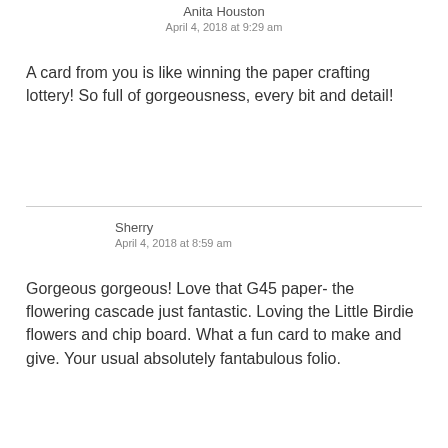Anita Houston
April 4, 2018 at 9:29 am
A card from you is like winning the paper crafting lottery! So full of gorgeousness, every bit and detail!
Sherry
April 4, 2018 at 8:59 am
Gorgeous gorgeous! Love that G45 paper- the flowering cascade just fantastic. Loving the Little Birdie flowers and chip board. What a fun card to make and give. Your usual absolutely fantabulous folio.